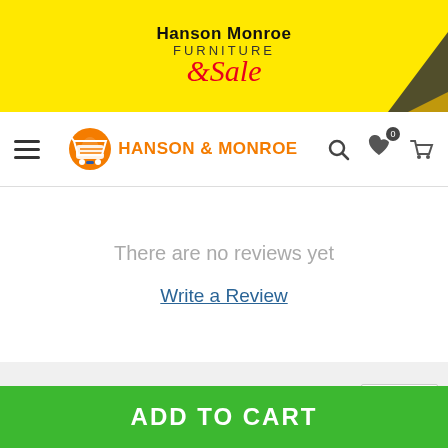[Figure (logo): Hanson Monroe Furniture Sale banner on yellow background with red arrow decoration]
HANSON & MONROE
There are no reviews yet
Write a Review
You May Also Like
ADD TO CART